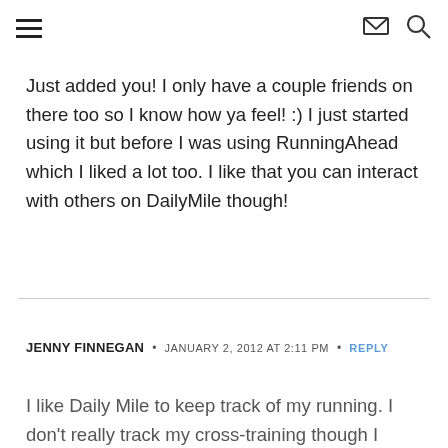Navigation header with hamburger menu, mail icon, and search icon
Just added you! I only have a couple friends on there too so I know how ya feel! :) I just started using it but before I was using RunningAhead which I liked a lot too. I like that you can interact with others on DailyMile though!
JENNY FINNEGAN • JANUARY 2, 2012 AT 2:11 PM • REPLY
I like Daily Mile to keep track of my running. I don't really track my cross-training though I probably